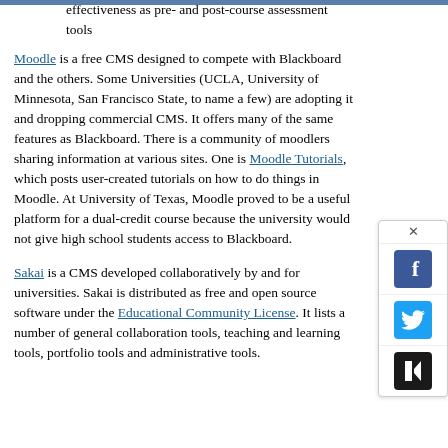effectiveness as pre- and post-course assessment tools
Moodle is a free CMS designed to compete with Blackboard and the others. Some Universities (UCLA, University of Minnesota, San Francisco State, to name a few) are adopting it and dropping commercial CMS. It offers many of the same features as Blackboard. There is a community of moodlers sharing information at various sites. One is Moodle Tutorials, which posts user-created tutorials on how to do things in Moodle. At University of Texas, Moodle proved to be a useful platform for a dual-credit course because the university would not give high school students access to Blackboard.
Sakai is a CMS developed collaboratively by and for universities. Sakai is distributed as free and open source software under the Educational Community License. It lists a number of general collaboration tools, teaching and learning tools, portfolio tools and administrative tools.